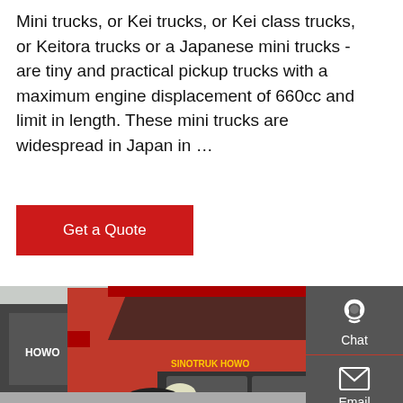Mini trucks, or Kei trucks, or Kei class trucks, or Keitora trucks or a Japanese mini trucks - are tiny and practical pickup trucks with a maximum engine displacement of 660cc and limit in length. These mini trucks are widespread in Japan in …
Get a Quote
[Figure (photo): Photo of a red HOWO semi-truck tractor head in a parking lot with other trucks visible in the background.]
Chat
Email
Contact
Top